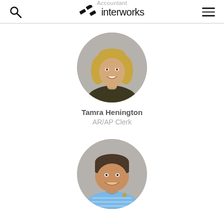Accountant | interworks
[Figure (photo): Circular profile photo of Tamra Henington, a young woman with long blonde hair wearing a dark olive/brown top, smiling against a gray background.]
Tamra Henington
AR/AP Clerk
[Figure (photo): Circular profile photo of a young man with short dark hair wearing a light blue striped polo shirt with a small logo, smiling against a gray background.]